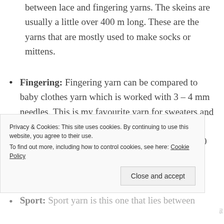between lace and fingering yarns. The skeins are usually a little over 400 m long. These are the yarns that are mostly used to make socks or mittens.
Fingering: Fingering yarn can be compared to baby clothes yarn which is worked with 3 – 4 mm needles. This is my favourite yarn for sweaters and shawls; neither too thick nor too warm and with just the right texture. The skeins are between 360 and 400 meters per
Privacy & Cookies: This site uses cookies. By continuing to use this website, you agree to their use.
To find out more, including how to control cookies, see here: Cookie Policy
Sport: Sport yarn is this one that lies between